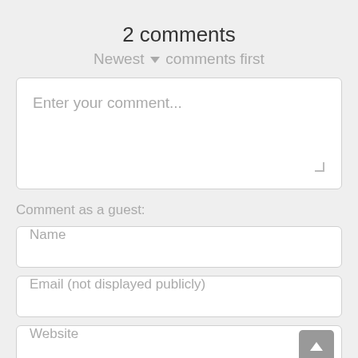2 comments
Newest ▼ comments first
Enter your comment...
Comment as a guest:
Name
Email (not displayed publicly)
Website